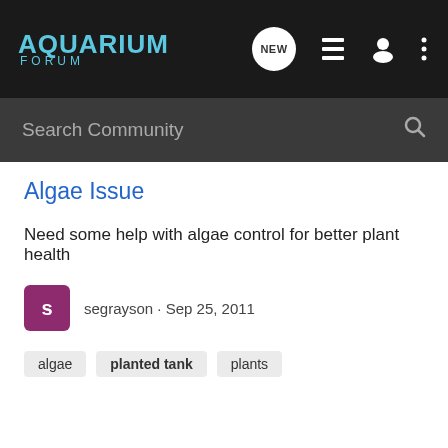AQUARIUM FORUM — navigation bar with search
Algae Issue
Need some help with algae control for better plant health
segrayson · Sep 25, 2011
algae
planted tank
plants